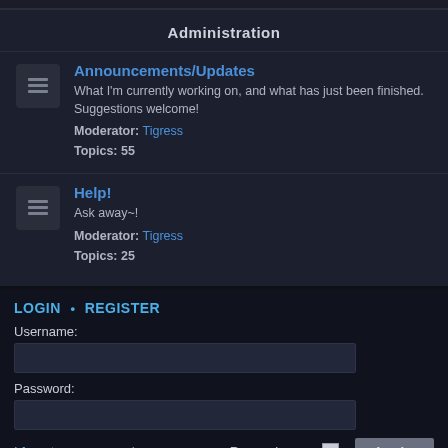Administration
Announcements/Updates
What I'm currently working on, and what has just been finished. Suggestions welcome!
Moderator: Tigress
Topics: 55
Help!
Ask away~!
Moderator: Tigress
Topics: 25
LOGIN • REGISTER
Username:
Password:
I forgot my password
Remember me
WHO IS ONLINE
In total there are 12 users online :: 0 registered, 0 hidden and 12 guests (based on users active over the past 5 minutes)